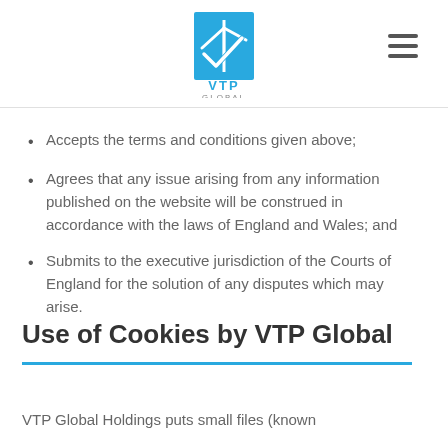VTP Global logo and navigation menu
Accepts the terms and conditions given above;
Agrees that any issue arising from any information published on the website will be construed in accordance with the laws of England and Wales; and
Submits to the executive jurisdiction of the Courts of England for the solution of any disputes which may arise.
Use of Cookies by VTP Global
VTP Global Holdings puts small files (known